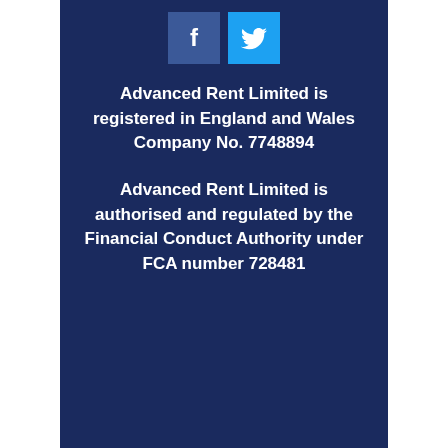[Figure (logo): Facebook and Twitter social media icons side by side on dark navy background]
Advanced Rent Limited is registered in England and Wales Company No. 7748894
Advanced Rent Limited is authorised and regulated by the Financial Conduct Authority under FCA number 728481